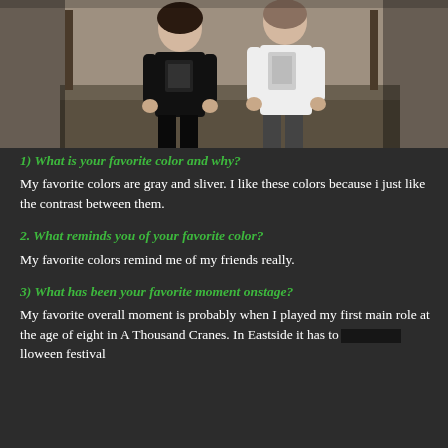[Figure (photo): Two people standing side by side - one in a black t-shirt on the left, one in a white t-shirt on the right, in what appears to be a stage or rehearsal space]
1) What is your favorite color and why?
My favorite colors are gray and sliver. I like these colors because i just like the contrast between them.
2. What reminds you of your favorite color?
My favorite colors remind me of my friends really.
3) What has been your favorite moment onstage?
My favorite overall moment is probably when I played my first main role at the age of eight in A Thousand Cranes. In Eastside it has to [obscured] lloween festival